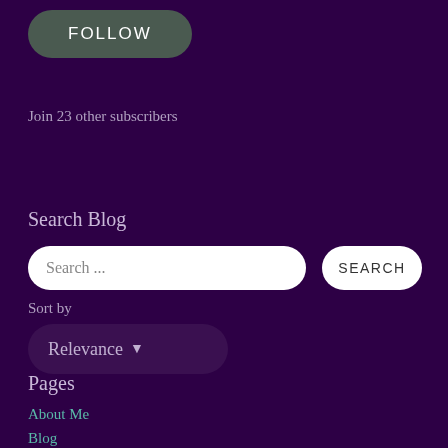FOLLOW
Join 23 other subscribers
Search Blog
Search ...
SEARCH
Sort by
Relevance
Pages
About Me
Blog